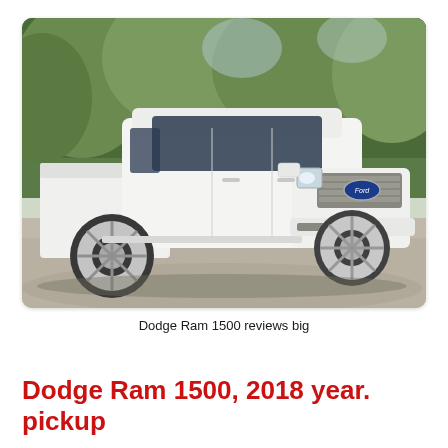[Figure (photo): A white pickup truck (Ford F-150) photographed outdoors on a gravel driveway with green trees in the background. The truck is facing toward the viewer at a slight angle, showing the front grille, headlights, and chrome wheels clearly.]
Dodge Ram 1500 reviews big
Dodge Ram 1500, 2018 year. pickup